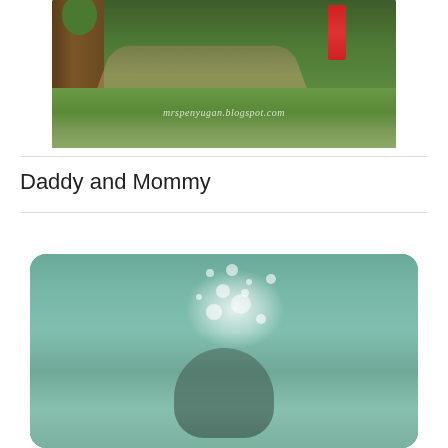[Figure (photo): Outdoor garden/forest scene with trees, green ground cover, a path, and a red object visible in the background. Watermark reads 'mrspenyugan.blogspot.com']
Daddy and Mommy
[Figure (photo): Underwater photo showing bubbles and figures submerged in greenish-blue water]